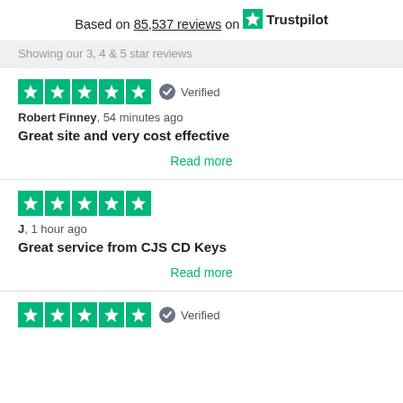Based on 85,537 reviews on Trustpilot
Showing our 3, 4 & 5 star reviews
★★★★★ Verified
Robert Finney, 54 minutes ago
Great site and very cost effective
Read more
★★★★★
J, 1 hour ago
Great service from CJS CD Keys
Read more
★★★★★ Verified